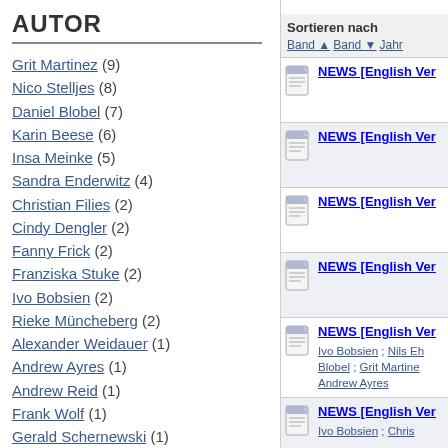AUTOR
Grit Martinez (9)
Nico Stelljes (8)
Daniel Blobel (7)
Karin Beese (6)
Insa Meinke (5)
Sandra Enderwitz (4)
Christian Filies (2)
Cindy Dengler (2)
Fanny Frick (2)
Franziska Stuke (2)
Ivo Bobsien (2)
Rieke Müncheberg (2)
Alexander Weidauer (1)
Andrew Ayres (1)
Andrew Reid (1)
Frank Wolf (1)
Gerald Schernewski (1)
Sortieren nach
Band ▲  Band ▼  Jahr
NEWS [English Ver
NEWS [English Ver
NEWS [English Ver
NEWS [English Ver
NEWS [English Ver
Ivo Bobsien ; Nils Eh Blobel ; Grit Martine Andrew Ayres
NEWS [English Ver
Ivo Bobsien ; Chris